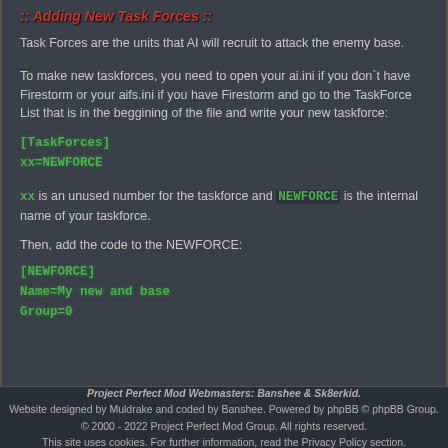Adding New Task Forces
Task Forces are the units that AI will recruit to attack the enemy base.
To make new taskforces, you need to open your ai.ini if you don`t have Firestorm or your aifs.ini if you have Firestorm and go to the TaskForce List that is in the beggining of the file and write your new taskforce:
[TaskForces]
xx=NEWFORCE
xx is an unused number for the taskforce and NEWFORCE is the internal name of your taskforce.
Then, add the code to the NEWFORCE:
[NEWFORCE]
Name=My new and base
Group=0
Project Perfect Mod Webmasters: Banshee & Sk8erkid
Website designed by Muldrake and coded by Banshee. Powered by phpBB © phpBB Group.
© 2000 - 2022 Project Perfect Mod Group. All rights reserved.
This site uses cookies. For further information, read the Privacy Policy section.